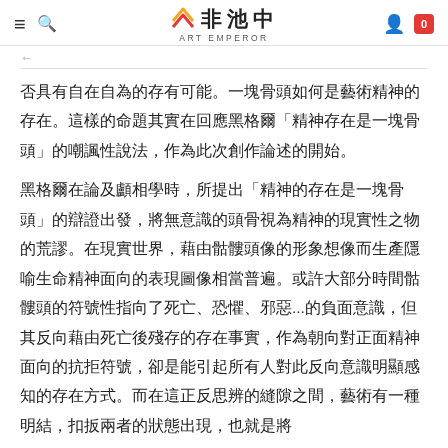非池中 ART EMPEROR
否具有自在自為的存有可能。一塊骨頭如何是藝術精神的存在。這樣的命題其實在回應黑格爾「精神存在是一塊骨頭」的嘲諷性說法，作為此次創作論述的開始。
黑格爾在論及顱相學時，所提出「精神的存在是一塊骨頭」的辯證出發，將無意識的頭骨視為精神的現實性之物的荒謬。在現實世界，藉由骷髏頭像的形象想像而生產隱喻生命精神面向的表現圖像相當普遍。或許大部分時間骷髏頭的符號性指向了死亡、恐懼、邪惡...的負面意識，但其反向藉由死亡後殘存的存在事實，作為朝向對正面精神面向的抗拒符號，卻是能引起所有人對此反向意識明顯感知的存在方式。而在這正反思辨的縫隙之間，藝術有一種明結，扣扳兩者的狀態出現，也就是將